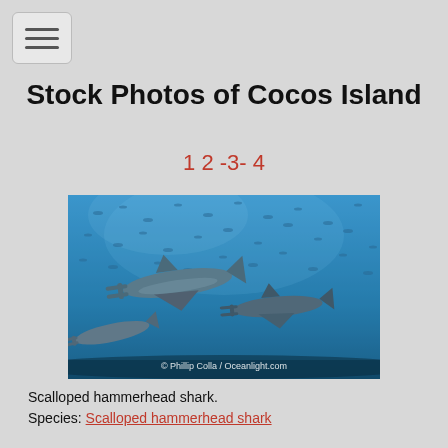☰ (menu button)
Stock Photos of Cocos Island
1 2 -3- 4
[Figure (photo): Underwater photo of scalloped hammerhead sharks swimming among a school of fish in blue water. Watermark: © Phillip Colla / Oceanlight.com]
Scalloped hammerhead shark.
Species: Scalloped hammerhead shark